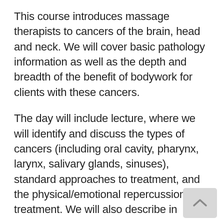This course introduces massage therapists to cancers of the brain, head and neck. We will cover basic pathology information as well as the depth and breadth of the benefit of bodywork for clients with these cancers.
The day will include lecture, where we will identify and discuss the types of cancers (including oral cavity, pharynx, larynx, salivary glands, sinuses), standard approaches to treatment, and the physical/emotional repercussions of treatment. We will also describe in